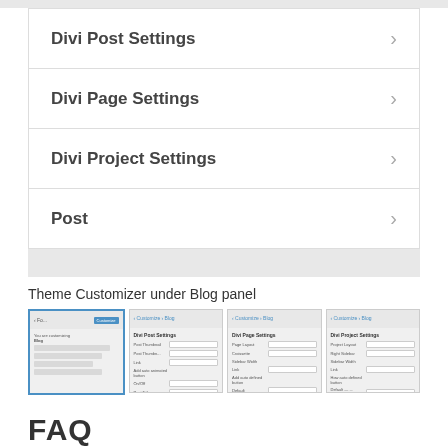Divi Post Settings
Divi Page Settings
Divi Project Settings
Post
Theme Customizer under Blog panel
[Figure (screenshot): Four screenshots showing Theme Customizer Blog panel settings: Divi Post Settings, Divi Page Settings, Divi Project Settings, and Post menu options]
FAQ